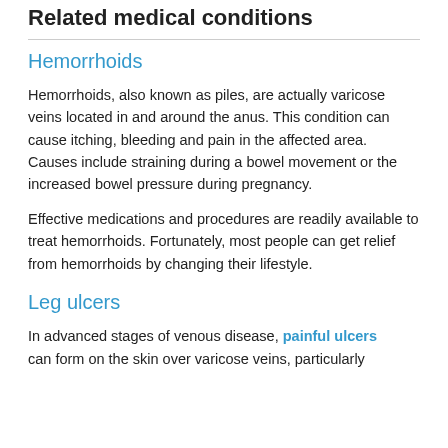Related medical conditions
Hemorrhoids
Hemorrhoids, also known as piles, are actually varicose veins located in and around the anus. This condition can cause itching, bleeding and pain in the affected area. Causes include straining during a bowel movement or the increased bowel pressure during pregnancy.
Effective medications and procedures are readily available to treat hemorrhoids. Fortunately, most people can get relief from hemorrhoids by changing their lifestyle.
Leg ulcers
In advanced stages of venous disease, painful ulcers can form on the skin over varicose veins, particularly